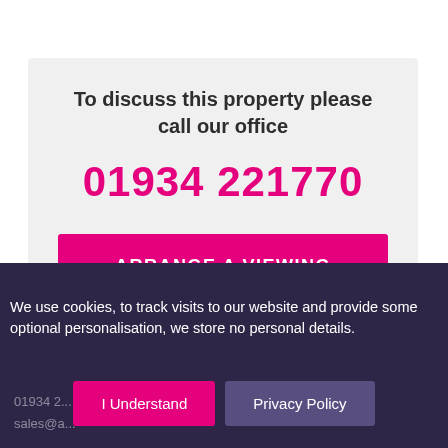To discuss this property please call our office
01934 221770
ARRANGE A VIEWING
We use cookies, to track visits to our website and provide some optional personalisation, we store no personal details.
01934 2...
sales@a...
I Understand
Privacy Policy